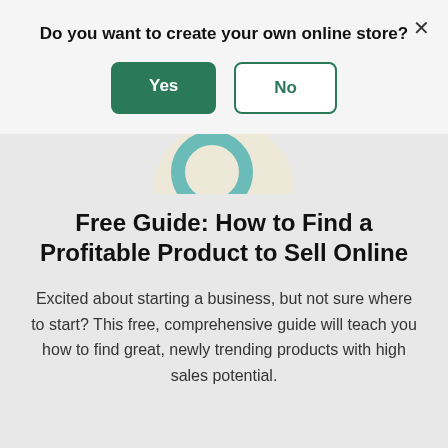Do you want to create your own online store?
Yes
No
[Figure (illustration): Partial view of a magnifying glass icon on a light background, partially cropped at top]
Free Guide: How to Find a Profitable Product to Sell Online
Excited about starting a business, but not sure where to start? This free, comprehensive guide will teach you how to find great, newly trending products with high sales potential.